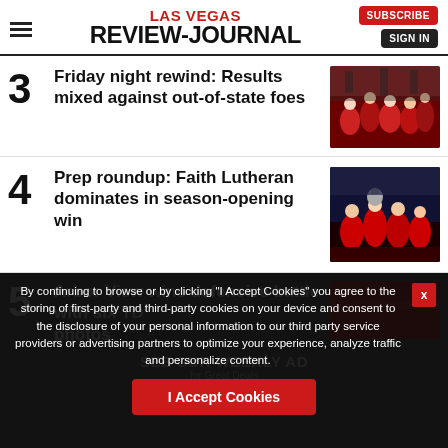LAS VEGAS REVIEW-JOURNAL
3 Friday night rewind: Results mixed against out-of-state foes
[Figure (photo): Football team in red uniforms celebrating]
4 Prep roundup: Faith Lutheran dominates in season-opening win
[Figure (photo): Football players celebrating with trophy]
5 Arbor View wins defensive battle with six TD photos
[Figure (photo): Partially visible image with red tones]
By continuing to browse or by clicking "I Accept Cookies" you agree to the storing of first-party and third-party cookies on your device and consent to the disclosure of your personal information to our third party service providers or advertising partners to optimize your experience, analyze traffic and personalize content.
SEE OUR WEEKLY AD for Great Deals
I Accept Cookies